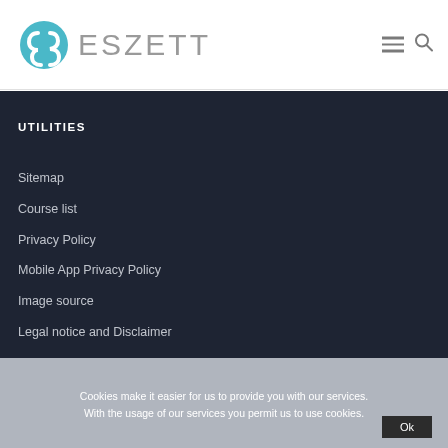ESZETT
UTILITIES
Sitemap
Course list
Privacy Policy
Mobile App Privacy Policy
Image source
Legal notice and Disclaimer
Cookies make it easier for us to provide you with our services. With the usage of our services you permit us to use cookies.